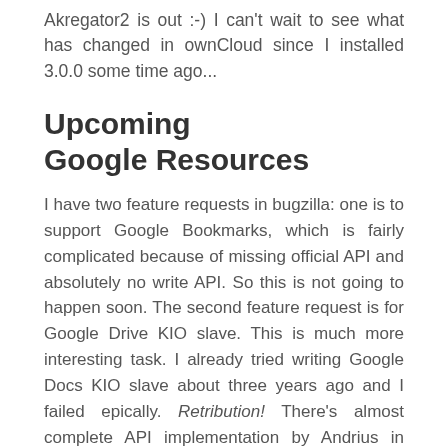Akregator2 is out :-) I can't wait to see what has changed in ownCloud since I installed 3.0.0 some time ago...
Upcoming Google Resources
I have two feature requests in bugzilla: one is to support Google Bookmarks, which is fairly complicated because of missing official API and absolutely no write API. So this is not going to happen soon. The second feature request is for Google Drive KIO slave. This is much more interesting task. I already tried writing Google Docs KIO slave about three years ago and I failed epically. Retribution! There's almost complete API implementation by Andrius in LibKGAPI git, so I plan to port it